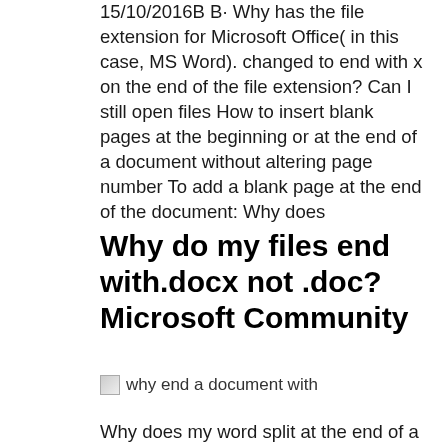15/10/2016B B· Why has the file extension for Microsoft Office( in this case, MS Word). changed to end with x on the end of the file extension? Can I still open files How to insert blank pages at the beginning or at the end of a document without altering page number To add a blank page at the end of the document: Why does
Why do my files end with.docx not .doc? Microsoft Community
[Figure (other): Broken image placeholder with alt text 'why end a document with']
Why does my word split at the end of a